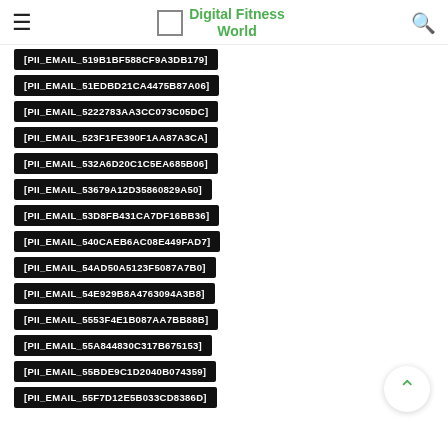Digital Fitness World
[PII_EMAIL_519B1BF588CF9A3DB179]
[PII_EMAIL_51EDBD21CA4475B87A06]
[PII_EMAIL_5222783AA3CC073C05DC]
[PII_EMAIL_523F1FE390F1AA87A3CA]
[PII_EMAIL_532A6D20C1C5EA685B06]
[PII_EMAIL_53679A12D35860829A50]
[PII_EMAIL_53D8FB431CA7DF16BB36]
[PII_EMAIL_540CAEB6AC08E449FAD7]
[PII_EMAIL_54AD50A5123F5087A7B0]
[PII_EMAIL_54E929B8A4763094A3B8]
[PII_EMAIL_5553F4E1B087AA7BB88B]
[PII_EMAIL_55A844830C317B675153]
[PII_EMAIL_55BDE9C1D2040B074359]
[PII_EMAIL_55F7D12E5B033CD8386D]